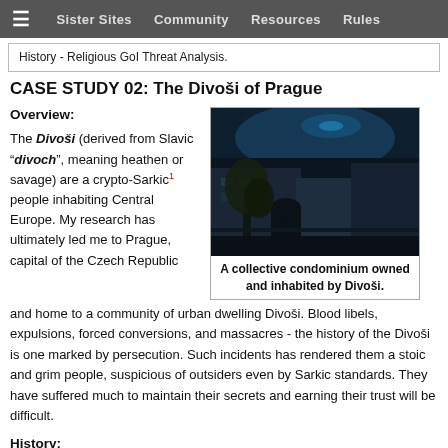≡  Sister Sites   Community   Resources   Rules
History - Religious GoI Threat Analysis.
CASE STUDY 02: The Divoši of Prague
Overview:
The Divoši (derived from Slavic "divoch", meaning heathen or savage) are a crypto-Sarkic¹ people inhabiting Central Europe. My research has ultimately led me to Prague, capital of the Czech Republic and home to a community of urban dwelling Divoši. Blood libels, expulsions, forced conversions, and massacres - the history of the Divoši is one marked by persecution. Such incidents has rendered them a stoic and grim people, suspicious of outsiders even by Sarkic standards. They have suffered much to maintain their secrets and earning their trust will be difficult.
[Figure (photo): Dark nighttime photo of a collective condominium building with blue-tinted sky and overgrown vegetation in foreground.]
A collective condominium owned and inhabited by Divoši.
History: